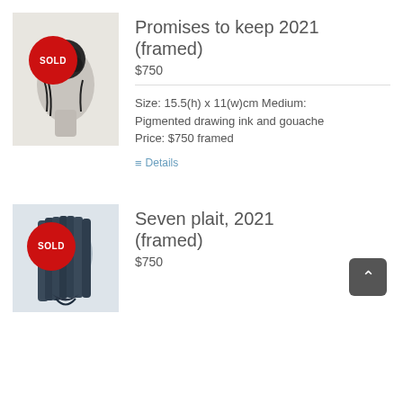[Figure (illustration): Artwork showing back of a woman's head with a braided bun hairstyle, black and grey tones, with a red SOLD badge overlay]
Promises to keep 2021 (framed)
$750
Size: 15.5(h) x 11(w)cm Medium: Pigmented drawing ink and gouache Price: $750 framed
Details
[Figure (illustration): Artwork showing back of a woman's head with long straight hair plaited, black and blue-grey tones, with a red SOLD badge overlay]
Seven plait, 2021 (framed)
$750